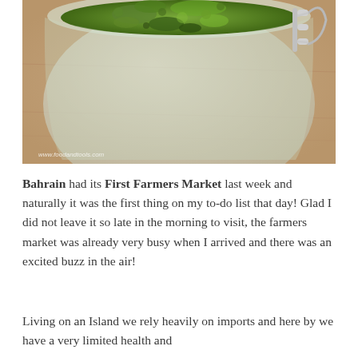[Figure (photo): A glass jar with a metal clamp lid, filled with green pesto or herb sauce, photographed from above and to the side on a wooden surface. Watermark reads www.foodandtools.com]
Bahrain had its First Farmers Market last week and naturally it was the first thing on my to-do list that day! Glad I did not leave it so late in the morning to visit, the farmers market was already very busy when I arrived and there was an excited buzz in the air!
Living on an Island we rely heavily on imports and here by we have a very limited health and...